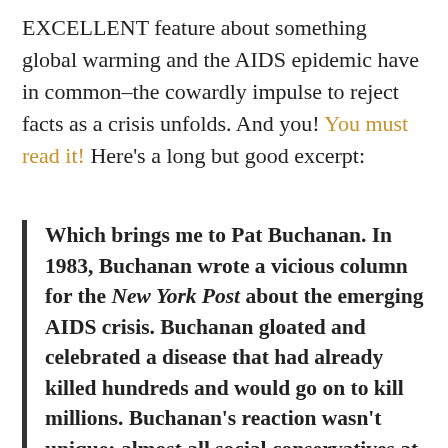EXCELLENT feature about something global warming and the AIDS epidemic have in common–the cowardly impulse to reject facts as a crisis unfolds. And you! You must read it! Here's a long but good excerpt:
Which brings me to Pat Buchanan. In 1983, Buchanan wrote a vicious column for the New York Post about the emerging AIDS crisis. Buchanan gloated and celebrated a disease that had already killed hundreds and would go on to kill millions. Buchanan's reaction wasn't unique; almost all social conservatives at the time welcomed the AIDS epidemic with unconcealed glee. God's judgment had come at last, and it vindicated everything the TV preachers had been saying since Stonewall. Homosexuals